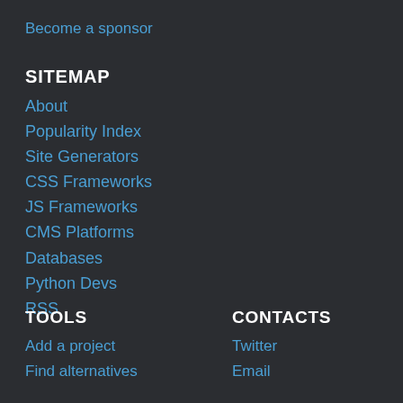Become a sponsor
SITEMAP
About
Popularity Index
Site Generators
CSS Frameworks
JS Frameworks
CMS Platforms
Databases
Python Devs
RSS
TOOLS
Add a project
Find alternatives
CONTACTS
Twitter
Email